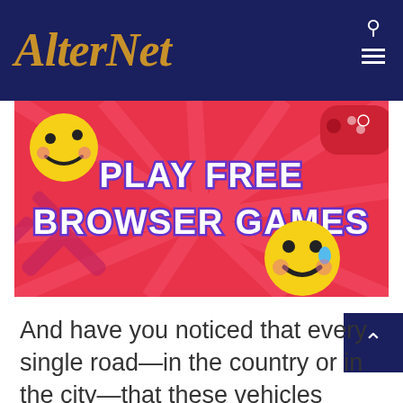AlterNet
[Figure (illustration): Promotional banner with colorful 3D emoji characters on a pink/red background with text 'PLAY FREE BROWSER GAMES' in white bold lettering with colorful outline]
And have you noticed that every single road—in the country or in the city—that these vehicles travel on are empty? Just how does that work in say, rush hour in Chicago or Los Angeles?